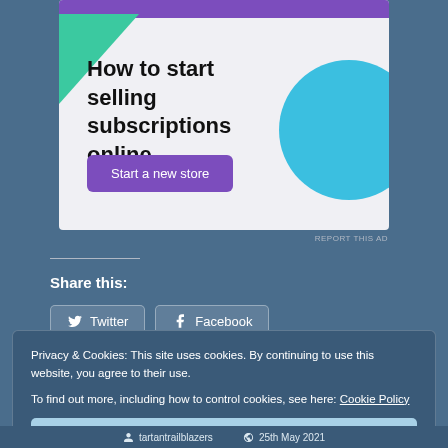[Figure (screenshot): Advertisement banner: 'How to start selling subscriptions online' with a purple bar at top, green triangle shape, blue circle shape, and a purple 'Start a new store' button.]
REPORT THIS AD
Share this:
Twitter   Facebook
Privacy & Cookies: This site uses cookies. By continuing to use this website, you agree to their use. To find out more, including how to control cookies, see here: Cookie Policy
Close and accept
tartantrailblazers   25th May 2021